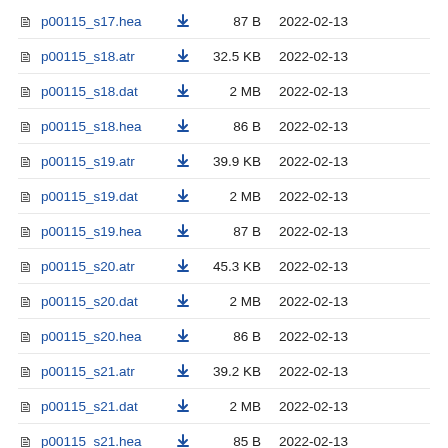p00115_s17.hea  87 B  2022-02-13
p00115_s18.atr  32.5 KB  2022-02-13
p00115_s18.dat  2 MB  2022-02-13
p00115_s18.hea  86 B  2022-02-13
p00115_s19.atr  39.9 KB  2022-02-13
p00115_s19.dat  2 MB  2022-02-13
p00115_s19.hea  87 B  2022-02-13
p00115_s20.atr  45.3 KB  2022-02-13
p00115_s20.dat  2 MB  2022-02-13
p00115_s20.hea  86 B  2022-02-13
p00115_s21.atr  39.2 KB  2022-02-13
p00115_s21.dat  2 MB  2022-02-13
p00115_s21.hea  85 B  2022-02-13